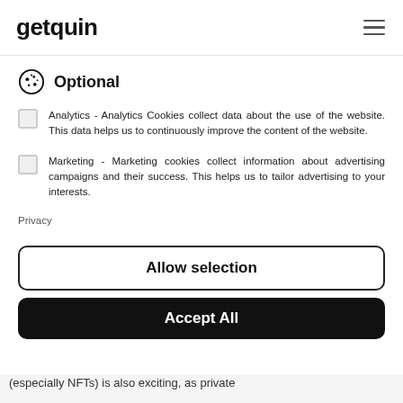getquin
Optional
Analytics - Analytics Cookies collect data about the use of the website. This data helps us to continuously improve the content of the website.
Marketing - Marketing cookies collect information about advertising campaigns and their success. This helps us to tailor advertising to your interests.
Privacy
Allow selection
Accept All
(especially NFTs) is also exciting, as private